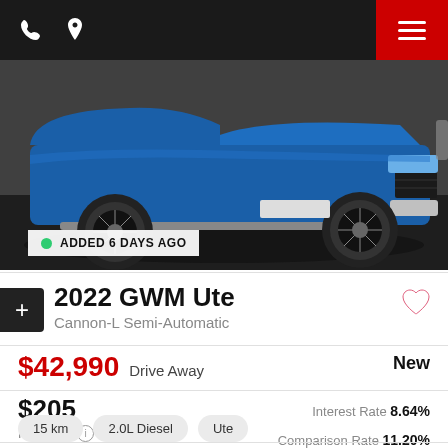Phone and location icons, hamburger menu
[Figure (photo): Blue GWM Ute Cannon-L pickup truck photographed from front-left angle, showing wheel, grille and front bumper, parked on dark concrete surface]
ADDED 6 DAYS AGO
2022 GWM Ute
Cannon-L Semi-Automatic
$42,990 Drive Away
New
$205
Per week
Interest Rate 8.64%
Comparison Rate 11.20%
15 km
2.0L Diesel
Ute